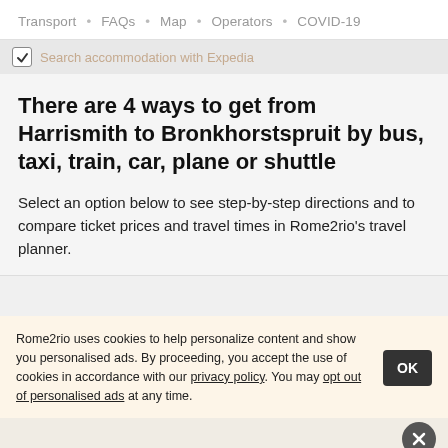Transport · FAQs · Map · Operators · COVID-19
Search accommodation with Expedia
There are 4 ways to get from Harrismith to Bronkhorstspruit by bus, taxi, train, car, plane or shuttle
Select an option below to see step-by-step directions and to compare ticket prices and travel times in Rome2rio's travel planner.
Rome2rio uses cookies to help personalize content and show you personalised ads. By proceeding, you accept the use of cookies in accordance with our privacy policy. You may opt out of personalised ads at any time.